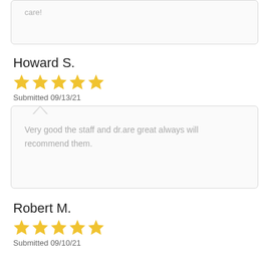care!
Howard S.
[Figure (other): 5 yellow stars rating]
Submitted 09/13/21
Very good the staff and dr.are great always will recommend them.
Robert M.
[Figure (other): 5 yellow stars rating]
Submitted 09/10/21